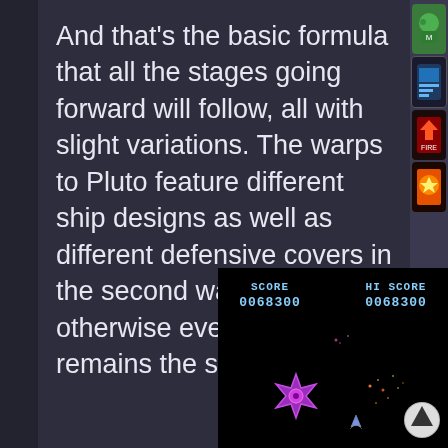And that's the basic formula that all the stages going forward will follow, all with slight variations. The warps to Pluto feature different ship designs as well as different defensive covers in the second warp. But otherwise everything remains the same.
[Figure (screenshot): Arcade/retro space shooter game screenshot showing black background with score display reading SCORE 0068300 and HI SCORE 0068300. A purple star-shaped enemy ship is visible on the left side, with a player ship in the center and small particles/explosions. A white triangle arrow button is in the bottom right corner.]